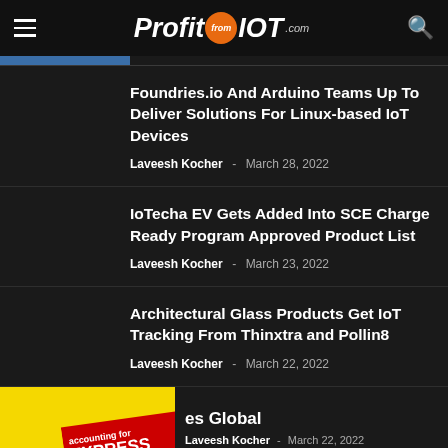ProfitfromIOT.com
Foundries.io And Arduino Teams Up To Deliver Solutions For Linux-based IoT Devices
Laveesh Kocher - March 28, 2022
IoTecha EV Gets Added Into SCE Charge Ready Program Approved Product List
Laveesh Kocher - March 23, 2022
Architectural Glass Products Get IoT Tracking From Thinxtra and Pollin8
Laveesh Kocher - March 22, 2022
[Figure (other): Advertisement banner with yellow background and Express badge, partially visible. Partially visible article title ending in 'es Global'.]
es Global